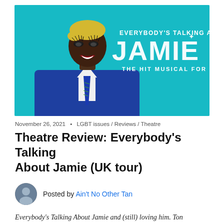[Figure (photo): Promotional image for 'Everybody's Talking About Jamie' musical. A performer in drag makeup with blonde cropped hair, red lipstick, and a blue school blazer with striped tie, against a teal background. Text reads 'EVERYBODY'S TALKING ABOUT JAMIE – THE HIT MUSICAL FOR TODAY'.]
November 26, 2021  •  LGBT issues / Reviews / Theatre
Theatre Review: Everybody's Talking About Jamie (UK tour)
Posted by Ain't No Other Tan
Everybody's Talking About Jamie and (still) loving him. Ton